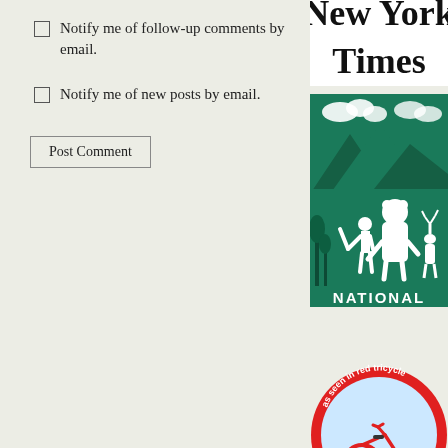Notify me of follow-up comments by email.
Notify me of new posts by email.
Post Comment
[Figure (logo): New York Times logo in blackletter gothic font]
[Figure (logo): National Wildlife Federation logo with green illustrated scene of child and deer, text: NATIONAL WILDLIFE FEDERATION]
[Figure (logo): Red Tricycle badge logo: circular red badge with red tricycle illustration and text 'as seen in red tricycle' and 'red tricycle - FANTASTIC FINDS FOR SAVVY GROWN-UPS']